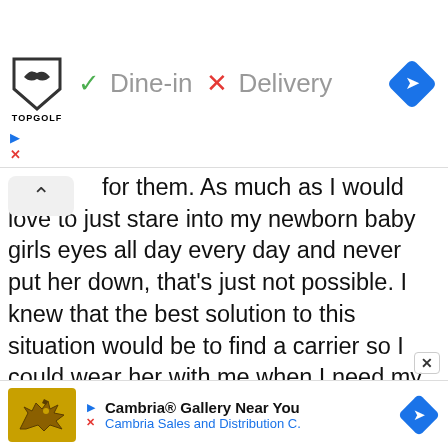[Figure (screenshot): Topgolf advertisement banner showing logo, green checkmark Dine-in, red X Delivery, and blue navigation diamond icon]
for them. As much as I would love to just stare into my newborn baby girls eyes all day every day and never put her down, that's just not possible. I knew that the best solution to this situation would be to find a carrier so I could wear her with me when I need my arms.  Being a mother that practices attachment parenting, I really wanted something that kept her close to me. Regular carriers don't allow me to keep her against my chest and have that important skin to skin contact, so I knew I wrap would be the ideal one for us! That is
[Figure (screenshot): Cambria Gallery Near You advertisement banner with golden dragon logo, title text and Cambria Sales and Distribution C. subtitle in blue, plus blue navigation diamond]